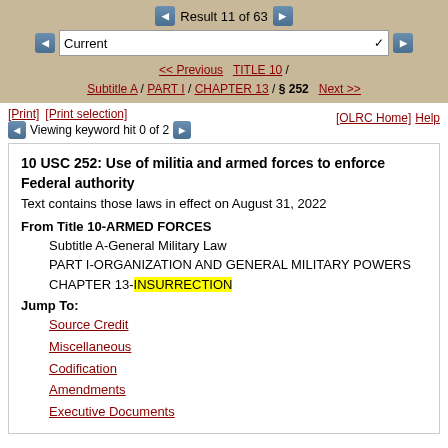Result 11 of 63
Current
<< Previous  TITLE 10 / Subtitle A / PART I / CHAPTER 13 / § 252  Next >>
[Print]  [Print selection]
Viewing keyword hit 0 of 2
[OLRC Home]  Help
10 USC 252: Use of militia and armed forces to enforce Federal authority
Text contains those laws in effect on August 31, 2022
From Title 10-ARMED FORCES
    Subtitle A-General Military Law
    PART I-ORGANIZATION AND GENERAL MILITARY POWERS
    CHAPTER 13-INSURRECTION
Jump To:
    Source Credit
    Miscellaneous
    Codification
    Amendments
    Executive Documents